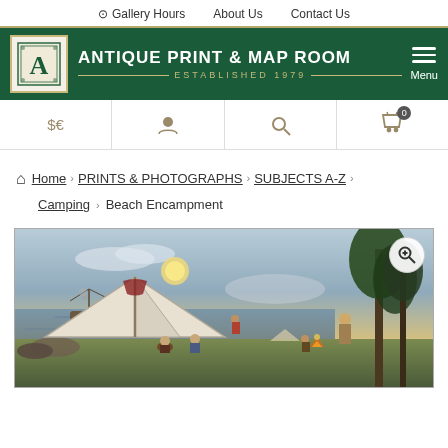Gallery Hours | About Us | Contact Us
ANTIQUE PRINT & MAP ROOM — ESTABLISHED 1979
$€ [currency selector] [user] [search] [cart 0]
Home › PRINTS & PHOTOGRAPHS › SUBJECTS A-Z › Camping › Beach Encampment
[Figure (illustration): Antique colored engraving of a beach encampment scene showing a large white tent, figures seated and standing around it, a ship on the water in the background, moonlit sky, and trees on the right side. A zoom button is visible in the upper right corner of the image.]